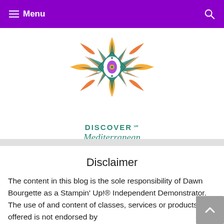Menu
[Figure (logo): Discover Mediterranean logo — geometric compass star with flame motifs in teal, orange, and gold colors, with text 'DISCOVER Mediterranean' below]
Incentive Trip Achievements
Disclaimer
The content in this blog is the sole responsibility of Dawn Bourgette as a Stampin' Up!® Independent Demonstrator.  The use of and content of classes, services or products offered is not endorsed by